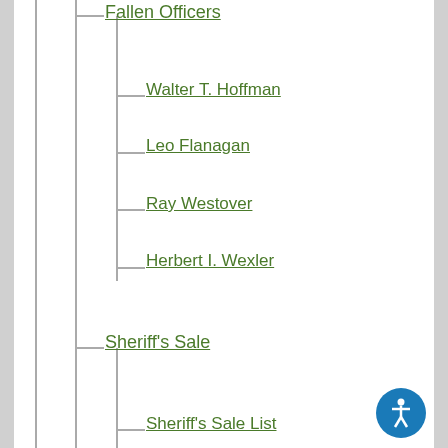Fallen Officers
Walter T. Hoffman
Leo Flanagan
Ray Westover
Herbert I. Wexler
Sheriff's Sale
Sheriff's Sale List
Sheriff Sale Detail and Results
Civil Process Service
How Do I...
Apply For
County Jobs
Contact
Sheriff's Office
County Employees